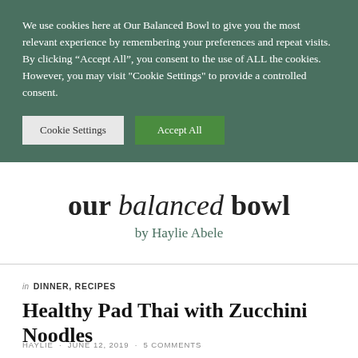We use cookies here at Our Balanced Bowl to give you the most relevant experience by remembering your preferences and repeat visits. By clicking “Accept All”, you consent to the use of ALL the cookies. However, you may visit "Cookie Settings" to provide a controlled consent.
Cookie Settings | Accept All
our balanced bowl
by Haylie Abele
in DINNER, RECIPES
Healthy Pad Thai with Zucchini Noodles
HAYLIE · JUNE 12, 2019 · 5 COMMENTS